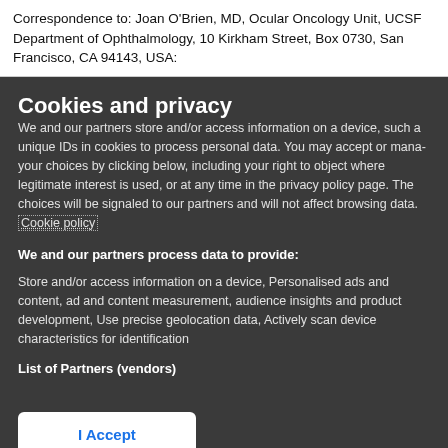Correspondence to: Joan O'Brien, MD, Ocular Oncology Unit, UCSF Department of Ophthalmology, 10 Kirkham Street, Box 0730, San Francisco, CA 94143, USA:
Cookies and privacy
We and our partners store and/or access information on a device, such as unique IDs in cookies to process personal data. You may accept or manage your choices by clicking below, including your right to object where legitimate interest is used, or at any time in the privacy policy page. These choices will be signaled to our partners and will not affect browsing data. Cookie policy
We and our partners process data to provide:
Store and/or access information on a device, Personalised ads and content, ad and content measurement, audience insights and product development, Use precise geolocation data, Actively scan device characteristics for identification
List of Partners (vendors)
I Accept